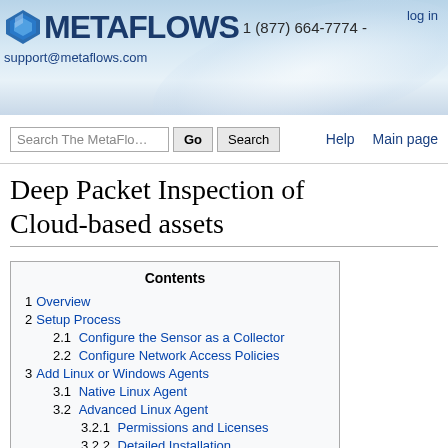MetaFlows - 1 (877) 664-7774 - support@metaflows.com | log in
Deep Packet Inspection of Cloud-based assets
| Contents |
| --- |
| 1  Overview |
| 2  Setup Process |
| 2.1  Configure the Sensor as a Collector |
| 2.2  Configure Network Access Policies |
| 3  Add Linux or Windows Agents |
| 3.1  Native Linux Agent |
| 3.2  Advanced Linux Agent |
| 3.2.1  Permissions and Licenses |
| 3.2.2  Detailed Installation |
| 3.2.3  Local Test |
| 3.2.4  Advanced Agent Options |
| 3.2.5  Receiver Agent Options |